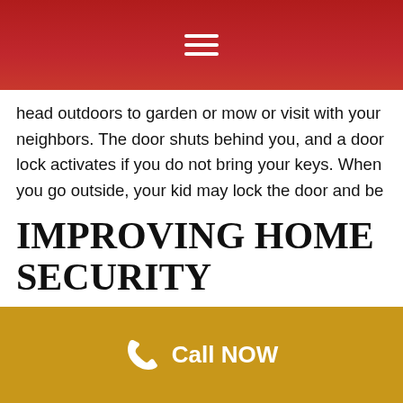Navigation menu
head outdoors to garden or mow or visit with your neighbors. The door shuts behind you, and a door lock activates if you do not bring your keys. When you go outside, your kid may lock the door and be unable to unlock it. If you are locked out of your house, you may have no choice except to contact a locksmith.
IMPROVING HOME SECURITY
Call NOW